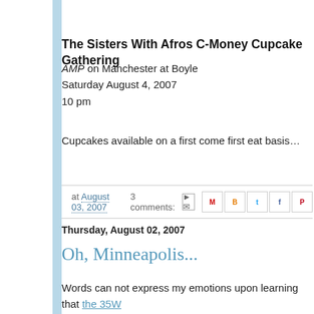The Sisters With Afros C-Money Cupcake Gathering
AMP on Manchester at Boyle
Saturday August 4, 2007
10 pm
Cupcakes available on a first come first eat basis…
at August 03, 2007   3 comments:
Thursday, August 02, 2007
Oh, Minneapolis...
Words can not express my emotions upon learning that the 35W bridge collapsed in Minneapolis.
My prayers are with everyone touched by this tragedy.
I was born in Minneapolis and I live in a river city...merciful God, I know what they are going through.
We are with you Minneapolis and do not hesitate to let us kno